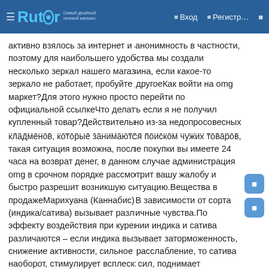Rutor — Вход — Регистр...
активно взялось за интернет и анонимность в частности, поэтому для наибольшего удобства мы создали несколько зеркал нашего магазина, если какое-то зеркало не работает, пробуйте другоеКак войти на omg маркет?Для этого нужно просто перейти по официальной ссылкеЧто делать если я не получил купленный товар?Действительно из-за недопросовесных кладменов, которые занимаются поиском чужих товаров, такая ситуация возможна, после покупки вы имеете 24 часа на возврат денег, в данном случае администрация omg в срочном порядке рассмотрит вашу жалобу и быстро разрешит возникшую ситуацию.Вещества в продажеМарихуана (Каннабис)В зависимости от сорта (индика/сатива) вызывает различные чувства.По эффекту воздействия при курении индика и сатива различаются – если индика вызывает заторможенность, снижение активности, сильное расслабление, то сатива наоборот, стимулирует всплеск сил, поднимает настроение и провоцирует на активные действия.Оба этих сорта используются в медицинских и лечебных целях. Сорта